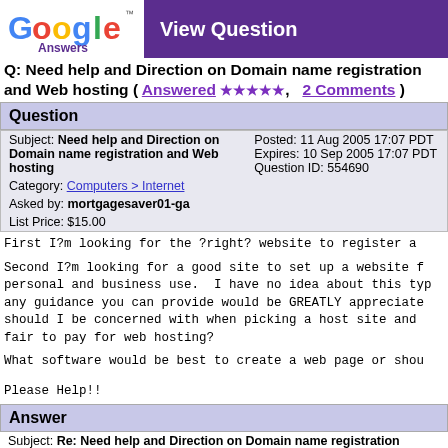Google Answers — View Question
Q: Need help and Direction on Domain name registration and Web hosting ( Answered ★★★★★, 2 Comments )
Question
| Subject: Need help and Direction on Domain name registration and Web hosting | Posted: 11 Aug 2005 17:07 PDT
Expires: 10 Sep 2005 17:07 PDT
Question ID: 554690 |
| Category: Computers > Internet |  |
| Asked by: mortgagesaver01-ga |  |
| List Price: $15.00 |  |
First I?m looking for the ?right? website to register a
Second I?m looking for a good site to set up a website for personal and business use. I have no idea about this type, any guidance you can provide would be GREATLY appreciated. should I be concerned with when picking a host site and fair to pay for web hosting?
What software would be best to create a web page or shou
Please Help!!
Answer
Subject: Re: Need help and Direction on Domain name registration